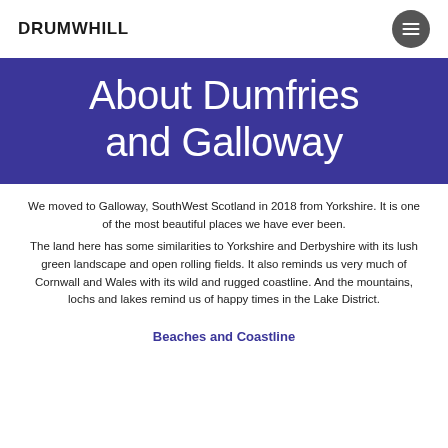DRUMWHILL
About Dumfries and Galloway
We moved to Galloway, SouthWest Scotland in 2018 from Yorkshire. It is one of the most beautiful places we have ever been. The land here has some similarities to Yorkshire and Derbyshire with its lush green landscape and open rolling fields. It also reminds us very much of Cornwall and Wales with its wild and rugged coastline. And the mountains, lochs and lakes remind us of happy times in the Lake District.
Beaches and Coastline